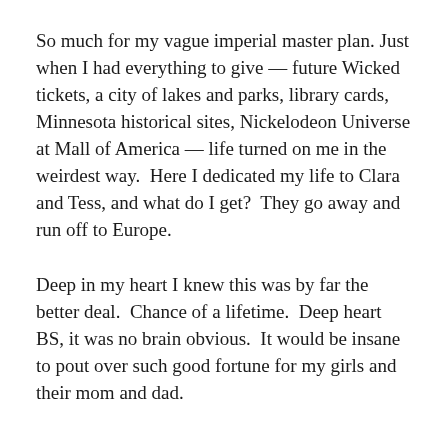So much for my vague imperial master plan. Just when I had everything to give — future Wicked tickets, a city of lakes and parks, library cards, Minnesota historical sites, Nickelodeon Universe at Mall of America — life turned on me in the weirdest way.  Here I dedicated my life to Clara and Tess, and what do I get?  They go away and run off to Europe.
Deep in my heart I knew this was by far the better deal.  Chance of a lifetime.  Deep heart BS, it was no brain obvious.  It would be insane to pout over such good fortune for my girls and their mom and dad.